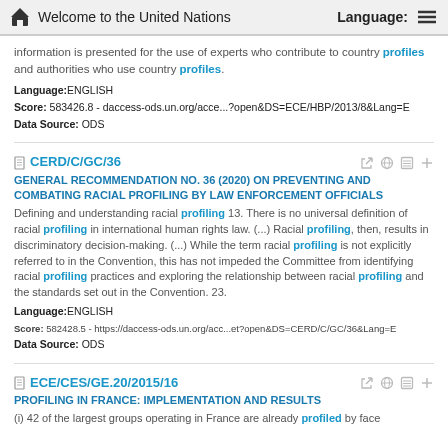Welcome to the United Nations  Language:
information is presented for the use of experts who contribute to country profiles and authorities who use country profiles.
Language:ENGLISH
Score: 583426.8 - daccess-ods.un.org/acce...?open&DS=ECE/HBP/2013/8&Lang=E
Data Source: ODS
CERD/C/GC/36
GENERAL RECOMMENDATION NO. 36 (2020) ON PREVENTING AND COMBATING RACIAL PROFILING BY LAW ENFORCEMENT OFFICIALS
Defining and understanding racial profiling 13. There is no universal definition of racial profiling in international human rights law. (...) Racial profiling, then, results in discriminatory decision-making. (...) While the term racial profiling is not explicitly referred to in the Convention, this has not impeded the Committee from identifying racial profiling practices and exploring the relationship between racial profiling and the standards set out in the Convention. 23.
Language:ENGLISH
Score: 582428.5 - https://daccess-ods.un.org/acc...et?open&DS=CERD/C/GC/36&Lang=E
Data Source: ODS
ECE/CES/GE.20/2015/16
PROFILING IN FRANCE: IMPLEMENTATION AND RESULTS
(i) 42 of the largest groups operating in France are already profiled by face